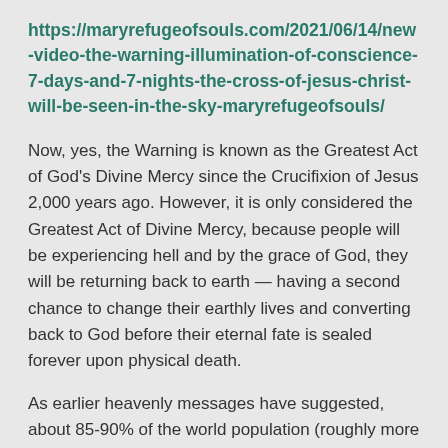https://maryrefugeofsouls.com/2021/06/14/new-video-the-warning-illumination-of-conscience-7-days-and-7-nights-the-cross-of-jesus-christ-will-be-seen-in-the-sky-maryrefugeofsouls/
Now, yes, the Warning is known as the Greatest Act of God's Divine Mercy since the Crucifixion of Jesus 2,000 years ago. However, it is only considered the Greatest Act of Divine Mercy, because people will be experiencing hell and by the grace of God, they will be returning back to earth — having a second chance to change their earthly lives and converting back to God before their eternal fate is sealed forever upon physical death.
As earlier heavenly messages have suggested, about 85-90% of the world population (roughly more than 6 billion people of about 8 billion people living on earth) is